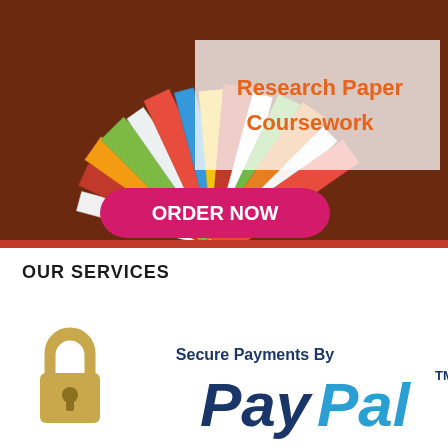[Figure (photo): A fan of colorful book spines spread on a wooden surface with a semi-transparent white overlay showing 'Research Paper Coursework' in orange text and a hot-pink 'ORDER NOW' button in lower left.]
OUR SERVICES
[Figure (logo): Secure Payments By PayPal logo with a padlock icon on the left and PayPal wordmark in dark navy blue with TM superscript on the right.]